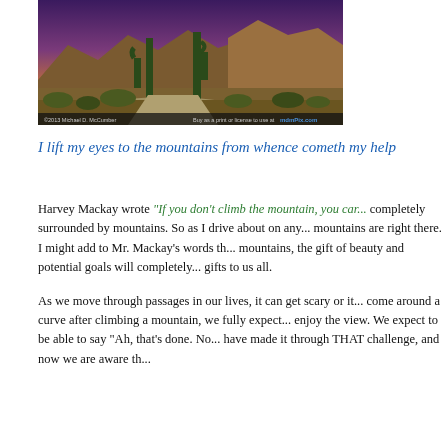[Figure (photo): Landscape photo of a desert mountain scene at dusk with saguaro cacti and scrub brush in the foreground, mountains in the background under a purple sky. Watermark at bottom: ©2013 Michael D. McCumber and mdmPix.com]
I lift my eyes to the mountains from whence cometh my help
Harvey Mackay wrote "If you don't climb the mountain, you can..." completely surrounded by mountains. So as I drive about on any... mountains are right there. I might add to Mr. Mackay's words th... mountains, the gift of beauty and potential goals will completely... gifts to us all.
As we move through passages in our lives, it can get scary or it... come around a curve after climbing a mountain, we fully expect... enjoy the view. We expect to be able to say "Ah, that's done. No... have made it through THAT challenge, and now we are aware th...